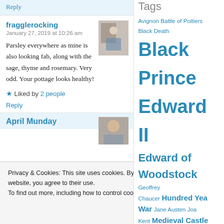Reply
fragglerocking
January 27, 2019 at 10:26 am
Parsley everywhere as mine is also looking fab, along with the sage, thyme and rosemary. Very odd. Your pottage looks healthy!
Liked by 2 people
Reply
April Munday
Privacy & Cookies: This site uses cookies. By continuing to use this website, you agree to their use.
To find out more, including how to control cookies, see here: Cookie Policy
Close and accept
Tags
Avignon Battle of Poitiers Black Death Black Prince Edward II Edward of Woodstock Geoffrey Chaucer Hundred Years War Jane Austen Joan of Kent Medieval Castles Medieval Food Medieval Monastery Medieval Monks Medieval Music Medieval Pottage Philippe